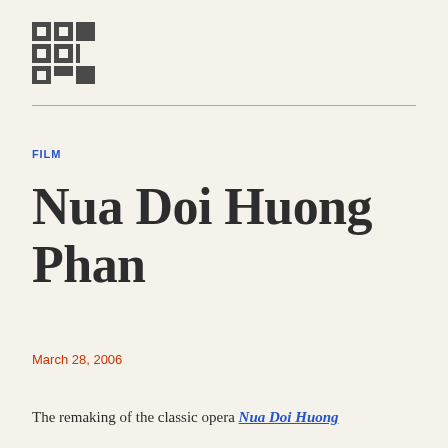[Figure (logo): Grid-based logo with dark gray squares forming letters or abstract pattern]
FILM
Nua Doi Huong Phan
March 28, 2006
The remaking of the classic opera Nua Doi Huong